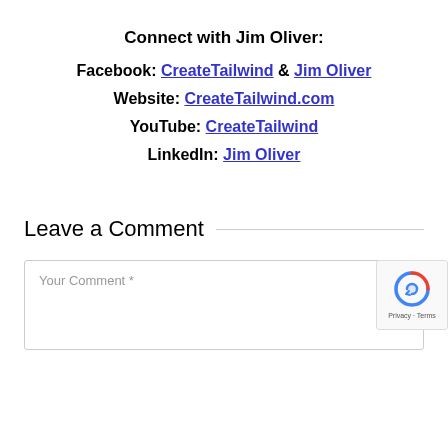Connect with Jim Oliver:
Facebook: CreateTailwind & Jim Oliver
Website: CreateTailwind.com
YouTube: CreateTailwind
LinkedIn: Jim Oliver
Leave a Comment
Your Comment *